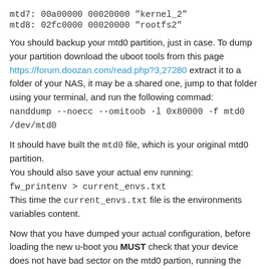mtd7: 00a00000 00020000 "kernel_2"
mtd8: 02fc0000 00020000 "rootfs2"
You should backup your mtd0 partition, just in case. To dump your partition download the uboot tools from this page https://forum.doozan.com/read.php?3,27280 extract it to a folder of your NAS, it may be a shared one, jump to that folder using your terminal, and run the following commad:
nanddump --noecc --omitoob -l 0x80000 -f mtd0 /dev/mtd0
It should have built the mtd0 file, which is your original mtd0 partition.
You should also save your actual env running:
fw_printenv > current_envs.txt
This time the current_envs.txt file is the environments variables content.
Now that you have dumped your actual configuration, before loading the new u-boot you MUST check that your device does not have bad sector on the mtd0 partion, running the